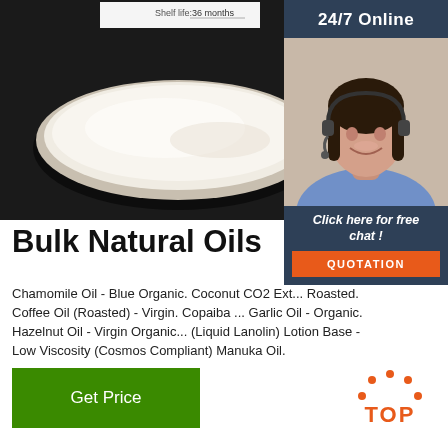[Figure (photo): Shelf life label showing '36 months' above a white cream/powder substance in a round petri dish on a dark background]
[Figure (photo): Customer service agent woman with headset smiling, with '24/7 Online' header, 'Click here for free chat!' text, and orange QUOTATION button]
Bulk Natural Oils
Chamomile Oil - Blue Organic. Coconut CO2 Ext... Roasted. Coffee Oil (Roasted) - Virgin. Copaiba ... Garlic Oil - Organic. Hazelnut Oil - Virgin Organic... (Liquid Lanolin) Lotion Base - Low Viscosity (Cosmos Compliant) Manuka Oil.
[Figure (illustration): Orange TOP badge with dot pattern above the text]
Get Price